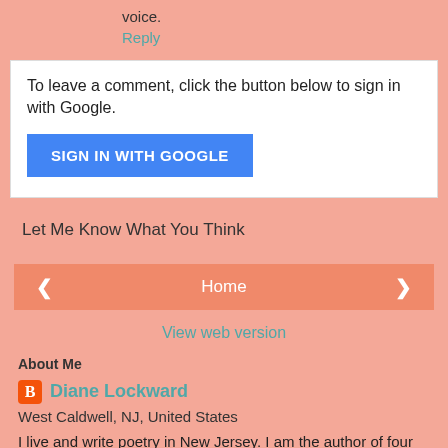voice.
Reply
To leave a comment, click the button below to sign in with Google.
SIGN IN WITH GOOGLE
Let Me Know What You Think
< Home >
View web version
About Me
Diane Lockward
West Caldwell, NJ, United States
I live and write poetry in New Jersey. I am the author of four full-length poetry collections, most recently The Uneaten Carrots of